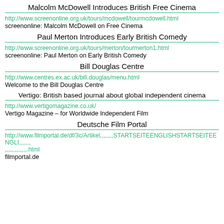Malcolm McDowell Introduces British Free Cinema
http://www.screenonline.org.uk/tours/mcdowell/tourmcdowell.html
screenonline: Malcolm McDowell on Free Cinema
Paul Merton Introduces Early British Comedy
http://www.screenonline.org.uk/tours/merton/tourmerton1.html
screenonline: Paul Merton on Early British Comedy
Bill Douglas Centre
http://www.centres.ex.ac.uk/bill.douglas/menu.html
Welcome to the Bill Douglas Centre
Vertigo: British based journal about global independent cinema
http://www.vertigomagazine.co.uk/
Vertigo Magazine – for Worldwide Independent Film
Deutsche Film Portal
http://www.filmportal.de/df/3c/Artikel,,,,,,,,STARTSEITEENGLISHSTARTSEITEENGLI,,,,,,,,,,,,,,,,,,html
filmportal.de